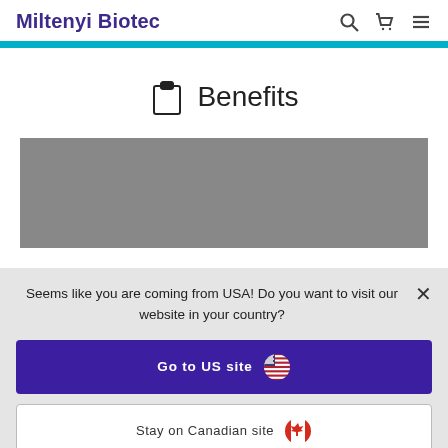Miltenyi Biotec
Benefits
[Figure (photo): Grey image placeholder below Benefits heading]
Seems like you are coming from USA! Do you want to visit our website in your country?
Go to US site
Stay on Canadian site